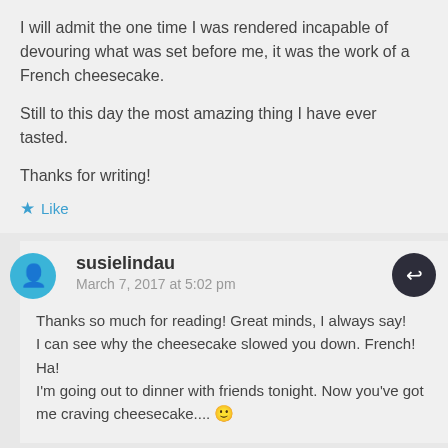I will admit the one time I was rendered incapable of devouring what was set before me, it was the work of a French cheesecake.

Still to this day the most amazing thing I have ever tasted.

Thanks for writing!
Like
susielindau
March 7, 2017 at 5:02 pm
Thanks so much for reading! Great minds, I always say!
I can see why the cheesecake slowed you down. French! Ha!
I'm going out to dinner with friends tonight. Now you've got me craving cheesecake.... 🙂